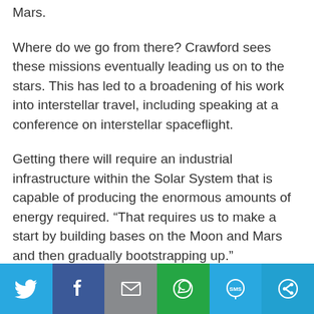Mars.
Where do we go from there? Crawford sees these missions eventually leading us on to the stars. This has led to a broadening of his work into interstellar travel, including speaking at a conference on interstellar spaceflight.
Getting there will require an industrial infrastructure within the Solar System that is capable of producing the enormous amounts of energy required. “That requires us to make a start by building bases on the Moon and Mars and then gradually bootstrapping up.”
Time, then, to go back to the Moon.
[Figure (infographic): Social sharing bar with six icon buttons: Twitter (light blue), Facebook (dark blue), Email (grey), WhatsApp (green), SMS (light blue), More/share (teal-blue)]